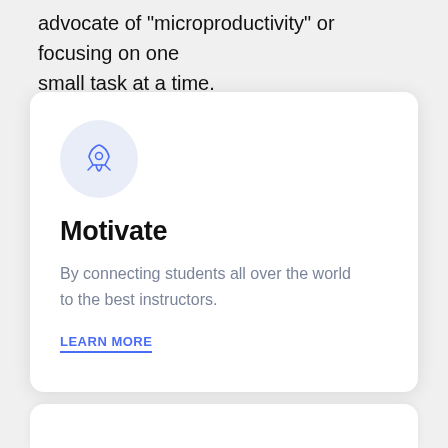advocate of "microproductivity" or focusing on one small task at a time.
[Figure (illustration): Rocket ship icon inside a light blue circle, representing motivation and launch.]
Motivate
By connecting students all over the world to the best instructors.
LEARN MORE